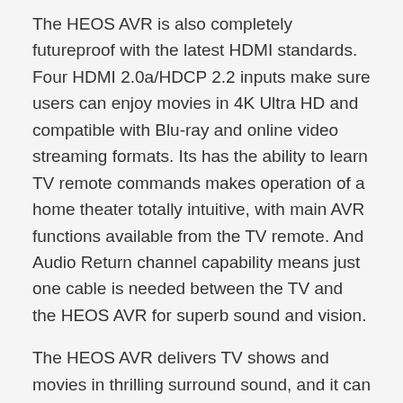The HEOS AVR is also completely futureproof with the latest HDMI standards. Four HDMI 2.0a/HDCP 2.2 inputs make sure users can enjoy movies in 4K Ultra HD and compatible with Blu-ray and online video streaming formats. Its has the ability to learn TV remote commands makes operation of a home theater totally intuitive, with main AVR functions available from the TV remote. And Audio Return channel capability means just one cable is needed between the TV and the HEOS AVR for superb sound and vision.
The HEOS AVR delivers TV shows and movies in thrilling surround sound, and it can stream music from a home computer or online services such as Spotify Connect® Pandora® and TIDAL for limitless entertainment. Make the HEOS AVR the heart of a living-room home theater, and it also becomes the cornerstone of a complete multi-room music system.